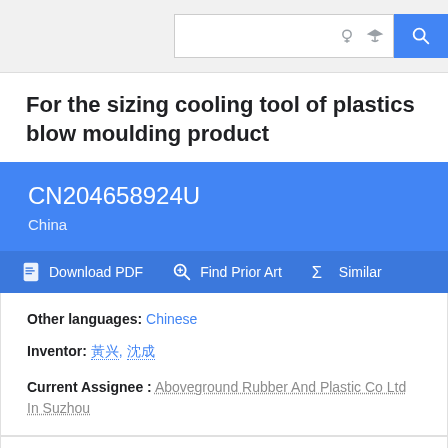[Figure (screenshot): Top navigation bar with search box containing lightbulb and graduation cap icons, and a blue search button with magnifying glass icon]
For the sizing cooling tool of plastics blow moulding product
CN204658924U
China
Download PDF   Find Prior Art   Similar
Other languages: Chinese
Inventor: 龚兴, 沈成
Current Assignee : Aboveground Rubber And Plastic Co Ltd In Suzhou
Worldwide applications